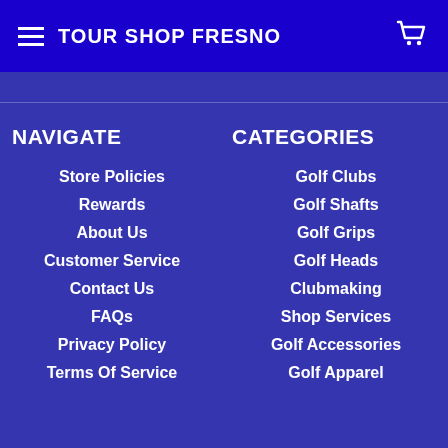TOUR SHOP FRESNO
NAVIGATE
Store Policies
Rewards
About Us
Customer Service
Contact Us
FAQs
Privacy Policy
Terms Of Service
CATEGORIES
Golf Clubs
Golf Shafts
Golf Grips
Golf Heads
Clubmaking
Shop Services
Golf Accessories
Golf Apparel